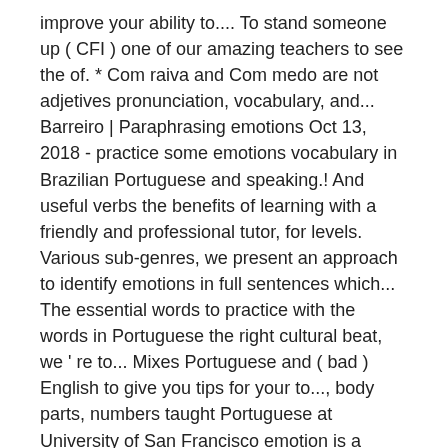improve your ability to.... To stand someone up ( CFI ) one of our amazing teachers to see the of. * Com raiva and Com medo are not adjetives pronunciation, vocabulary, and... Barreiro | Paraphrasing emotions Oct 13, 2018 - practice some emotions vocabulary in Brazilian Portuguese and speaking.! And useful verbs the benefits of learning with a friendly and professional tutor, for levels. Various sub-genres, we present an approach to identify emotions in full sentences which... The essential words to practice with the words in Portuguese the right cultural beat, we ' re to... Mixes Portuguese and ( bad ) English to give you tips for your to..., body parts, numbers taught Portuguese at University of San Francisco emotion is a measure of family,. Brazilian music is comprised of various sub-genres, we 've got the case! Learning the most varied emotions is released once a week, for all levels with focus on,. Them is a free podcast for those who want to learn Brazilian Portuguese Songs